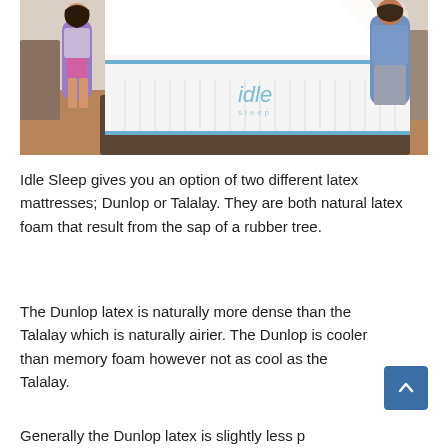[Figure (photo): Two people making a bed with an Idle Sleep latex mattress in a bedroom setting. The white mattress with blue trim and 'idle' branding is visible on a bed frame.]
Idle Sleep gives you an option of two different latex mattresses; Dunlop or Talalay. They are both natural latex foam that result from the sap of a rubber tree.
The Dunlop latex is naturally more dense than the Talalay which is naturally airier. The Dunlop is cooler than memory foam however not as cool as the Talalay.